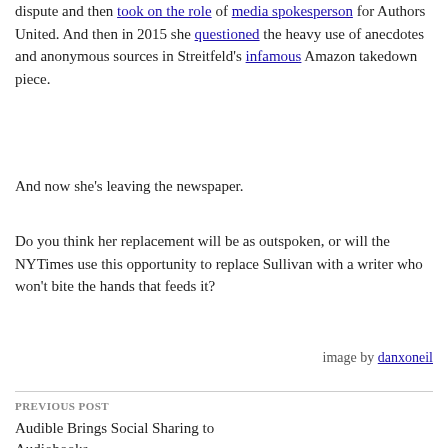dispute and then took on the role of media spokesperson for Authors United. And then in 2015 she questioned the heavy use of anecdotes and anonymous sources in Streitfeld's infamous Amazon takedown piece.
And now she's leaving the newspaper.
Do you think her replacement will be as outspoken, or will the NYTimes use this opportunity to replace Sullivan with a writer who won't bite the hands that feeds it?
image by danxoneil
PREVIOUS POST
Audible Brings Social Sharing to Audiobooks